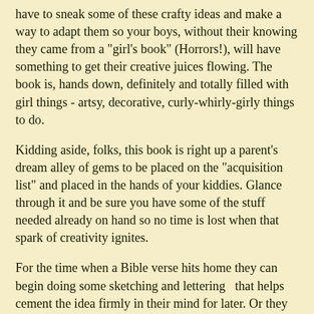have to sneak some of these crafty ideas and make a way to adapt them so your boys, without their knowing they came from a "girl's book" (Horrors!), will have something to get their creative juices flowing. The book is, hands down, definitely and totally filled with girl things - artsy, decorative, curly-whirly-girly things to do.
Kidding aside, folks, this book is right up a parent's dream alley of gems to be placed on the "acquisition list" and placed in the hands of your kiddies. Glance through it and be sure you have some of the stuff needed already on hand so no time is lost when that spark of creativity ignites.
For the time when a Bible verse hits home they can begin doing some sketching and lettering  that helps cement the idea firmly in their mind for later. Or they can take a pair of jeans and re-purpose them into a really fun tote bag. And the book doesn't just have ideas, there are instructions to direct the actual project and some pictures to visualize how to go about doing it and how it might look when completed.
Definitely consider getting one for your girls to have on hand